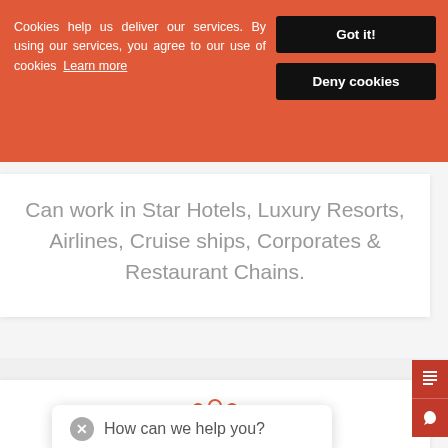Cookies help us deliver our services. By using our services, you agree to our use of cookies  Learn more
Got it!
Deny cookies
Can work in Star Hotels, Luxury Resorts, Airlines, Cruise ships, Corporates & Restaurant Chains.
[Figure (illustration): Red outline icon of a group of people]
Multicultural Exposure
Opportunity to Meet and interact with Celebrities, Multicultural People and more...
How can we help you?